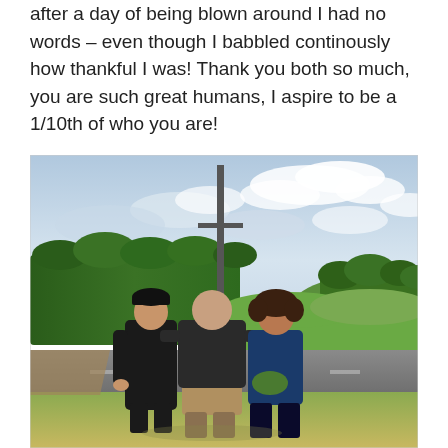after a day of being blown around I had no words – even though I babbled continously how thankful I was! Thank you both so much, you are such great humans, I aspire to be a 1/10th of who you are!
[Figure (photo): Three people posing together outdoors on a roadside. On the left is a person wearing all black with a black cap. In the middle is a bald man in a dark shirt and khaki shorts. On the right is a woman with curly hair in a dark blue top and black shorts, holding something green. Behind them is a tall utility pole, a large green hedge, rolling green hills, and a cloudy sky.]